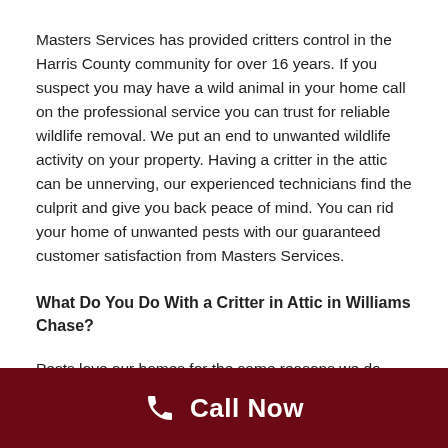Masters Services has provided critters control in the Harris County community for over 16 years. If you suspect you may have a wild animal in your home call on the professional service you can trust for reliable wildlife removal. We put an end to unwanted wildlife activity on your property. Having a critter in the attic can be unnerving, our experienced technicians find the culprit and give you back peace of mind. You can rid your home of unwanted pests with our guaranteed customer satisfaction from Masters Services.
What Do You Do With a Critter in Attic in Williams Chase?
Pests love our homes for the same reasons we do. They
[Figure (other): Dark red call-to-action bar at the bottom with a phone icon and 'Call Now' text in white]